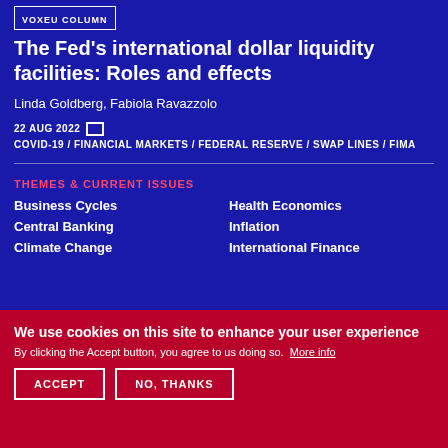VOXEU COLUMN
The Fed's international dollar liquidity facilities: Roles and effects
Linda Goldberg, Fabiola Ravazzolo
22 AUG 2022  COVID-19 / FINANCIAL MARKETS / FEDERAL RESERVE / SWAP LINES / FIMA
THEMES & CURRENT ISSUES
Business Cycles
Health Economics
Central Banking
Inflation
Climate Change
International Finance
We use cookies on this site to enhance your user experience
By clicking the Accept button, you agree to us doing so. More info
ACCEPT  NO, THANKS